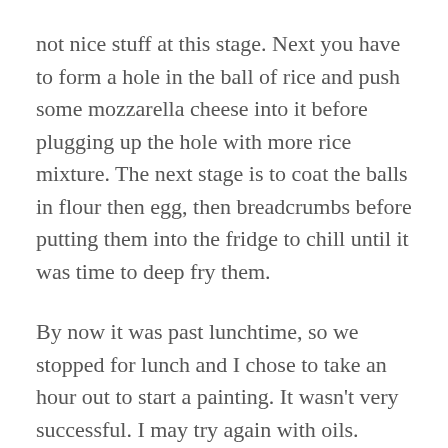not nice stuff at this stage. Next you have to form a hole in the ball of rice and push some mozzarella cheese into it before plugging up the hole with more rice mixture. The next stage is to coat the balls in flour then egg, then breadcrumbs before putting them into the fridge to chill until it was time to deep fry them.
By now it was past lunchtime, so we stopped for lunch and I chose to take an hour out to start a painting. It wasn't very successful. I may try again with oils. While I was struggling with the acrylics, Scamp was making the pudding (I was on starter and main). By the time I was finished with my artwork, she was finished in